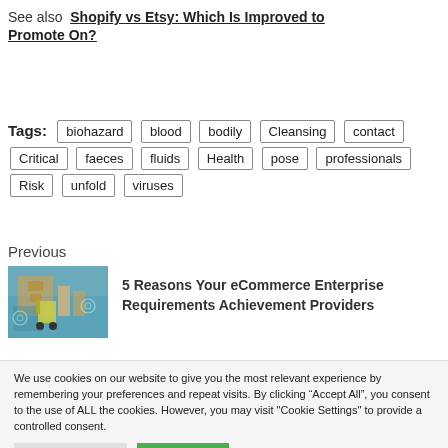See also  Shopify vs Etsy: Which Is Improved to Promote On?
Tags:  biohazard  blood  bodily  Cleansing  contact  Critical  faeces  fluids  Health  pose  professionals  Risk  unfold  viruses
Previous
[Figure (photo): Warehouse with forklift and digital overlay icons]
5 Reasons Your eCommerce Enterprise Requirements Achievement Providers
We use cookies on our website to give you the most relevant experience by remembering your preferences and repeat visits. By clicking “Accept All”, you consent to the use of ALL the cookies. However, you may visit "Cookie Settings" to provide a controlled consent.